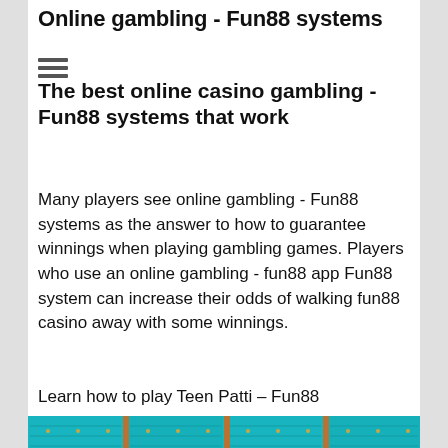Online gambling - Fun88 systems
The best online casino gambling - Fun88 systems that work
Many players see online gambling - Fun88 systems as the answer to how to guarantee winnings when playing gambling games. Players who use an online gambling - fun88 app Fun88 system can increase their odds of walking fun88 casino away with some winnings.
Learn how to play Teen Patti – Fun88
[Figure (photo): Casino slot machine image with neon teal slotted panels and large illuminated GAMBLING text in orange/gold letters at the bottom]